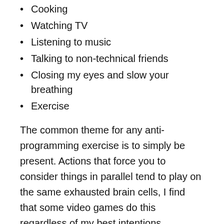Cooking
Watching TV
Listening to music
Talking to non-technical friends
Closing my eyes and slow your breathing
Exercise
The common theme for any anti-programming exercise is to simply be present. Actions that force you to consider things in parallel tend to play on the same exhausted brain cells, I find that some video games do this regardless of my best intentions.
For me personally playing a musical